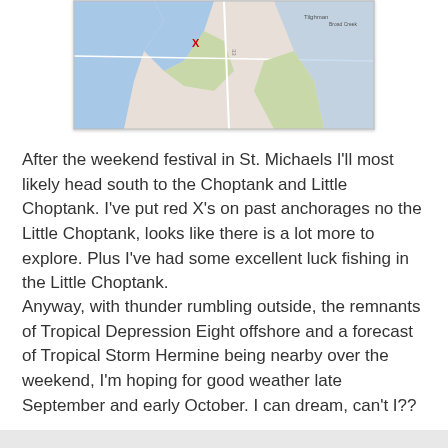[Figure (map): Partial Google Maps screenshot showing a coastal/waterway area, likely St. Michaels / Choptank region with blue water bodies and green land masses, and a red X marker.]
After the weekend festival in St. Michaels I'll most likely head south to the Choptank and Little Choptank.  I've put red X's on past anchorages no the Little Choptank, looks like there is a lot more to explore.  Plus I've had some excellent luck fishing in the Little Choptank.
Anyway, with thunder rumbling outside, the remnants of Tropical Depression Eight offshore and a forecast of Tropical Storm Hermine being nearby over the weekend, I'm hoping for good weather late September and early October.  I can dream, can't I??